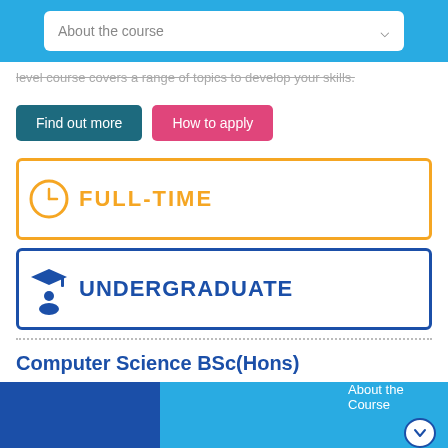About the course
level course covers a range of topics to develop your skills.
Find out more
How to apply
FULL-TIME
UNDERGRADUATE
Computer Science BSc(Hons)
Software engineering, programming, mathematics, mobile
About the Course